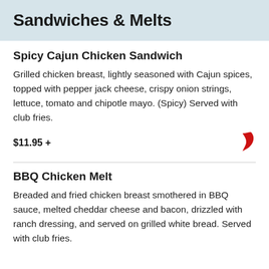Sandwiches & Melts
Spicy Cajun Chicken Sandwich
Grilled chicken breast, lightly seasoned with Cajun spices, topped with pepper jack cheese, crispy onion strings, lettuce, tomato and chipotle mayo. (Spicy) Served with club fries.
$11.95 +
BBQ Chicken Melt
Breaded and fried chicken breast smothered in BBQ sauce, melted cheddar cheese and bacon, drizzled with ranch dressing, and served on grilled white bread. Served with club fries.